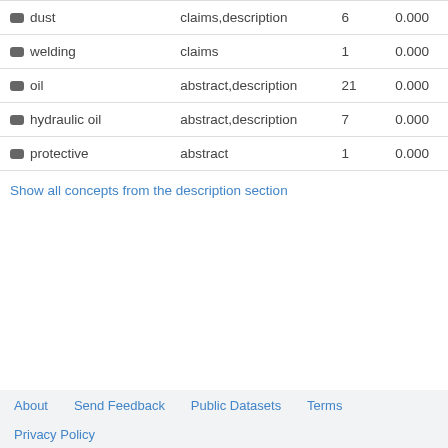| Concept | Section | Count | Score |
| --- | --- | --- | --- |
| dust | claims,description | 6 | 0.000 |
| welding | claims | 1 | 0.000 |
| oil | abstract,description | 21 | 0.000 |
| hydraulic oil | abstract,description | 7 | 0.000 |
| protective | abstract | 1 | 0.000 |
| Show all concepts from the description section |  |  |  |
About   Send Feedback   Public Datasets   Terms   Privacy Policy